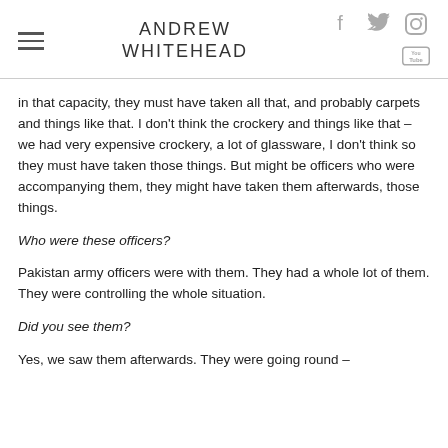ANDREW WHITEHEAD
in that capacity, they must have taken all that, and probably carpets and things like that. I don't think the crockery and things like that – we had very expensive crockery, a lot of glassware, I don't think so they must have taken those things. But might be officers who were accompanying them, they might have taken them afterwards, those things.
Who were these officers?
Pakistan army officers were with them. They had a whole lot of them. They were controlling the whole situation.
Did you see them?
Yes, we saw them afterwards. They were going round –